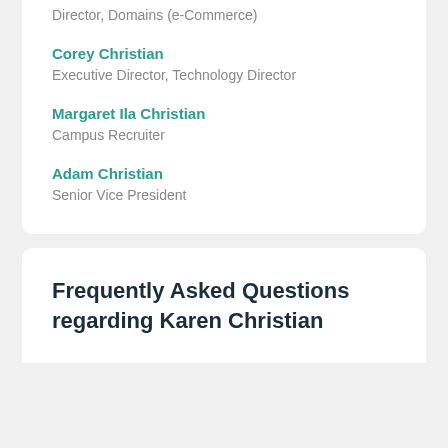Director, Domains (e-Commerce)
Corey Christian
Executive Director, Technology Director
Margaret Ila Christian
Campus Recruiter
Adam Christian
Senior Vice President
Frequently Asked Questions regarding Karen Christian